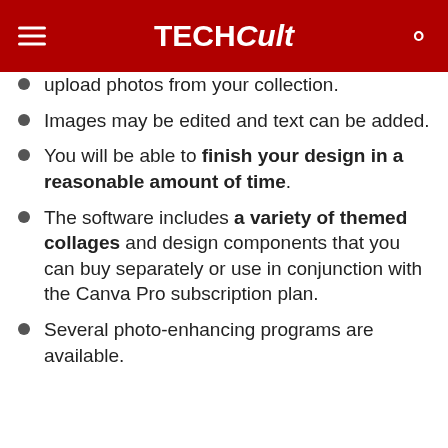TECHCult
upload photos from your collection.
Images may be edited and text can be added.
You will be able to finish your design in a reasonable amount of time.
The software includes a variety of themed collages and design components that you can buy separately or use in conjunction with the Canva Pro subscription plan.
Several photo-enhancing programs are available.